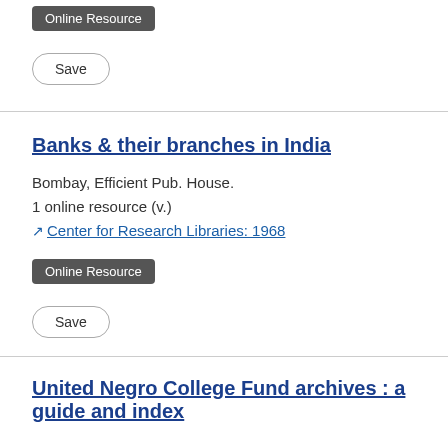Online Resource
Save
Banks & their branches in India
Bombay, Efficient Pub. House.
1 online resource (v.)
Center for Research Libraries: 1968
Online Resource
Save
United Negro College Fund archives : a guide and index